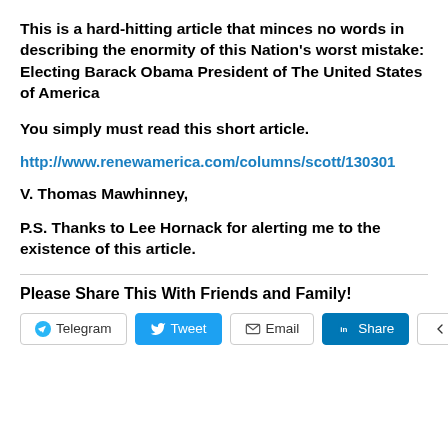This is a hard-hitting article that minces no words in describing the enormity of this Nation's worst mistake: Electing Barack Obama President of The United States of America
You simply must read this short article.
http://www.renewamerica.com/columns/scott/130301
V. Thomas Mawhinney,
P.S. Thanks to Lee Hornack for alerting me to the existence of this article.
Please Share This With Friends and Family!
[Figure (other): Social share buttons: Telegram, Tweet, Email, Share (LinkedIn), More]